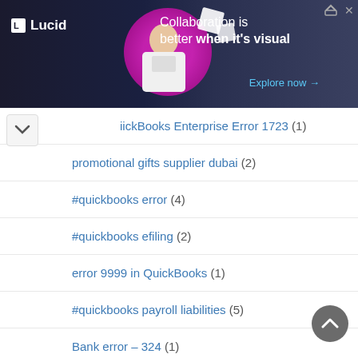[Figure (screenshot): Lucid advertisement banner: dark background with woman at laptop, pink circle graphic, Lucid logo, text 'Collaboration is better when it's visual', 'Explore now →' link]
iickBooks Enterprise Error 1723 (1)
promotional gifts supplier dubai (2)
#quickbooks error (4)
#quickbooks efiling (2)
error 9999 in QuickBooks (1)
#quickbooks payroll liabilities (5)
Bank error – 324 (1)
Recruitment Specialists (1)
QuickBooks Unexpected Error C 343 (1)
QuickBooksdb27 service won't start (1)
MLM consultants (1)
Quickbooks Online Chat Support (1)